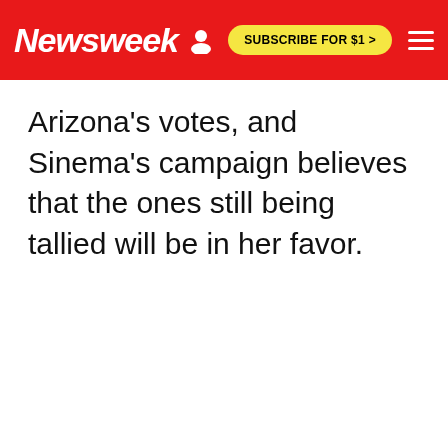Newsweek | SUBSCRIBE FOR $1 >
Arizona's votes, and Sinema's campaign believes that the ones still being tallied will be in her favor.